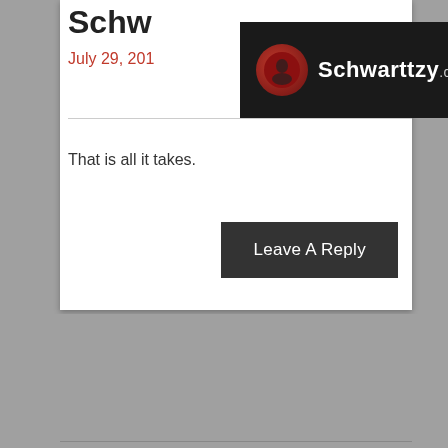Schwarttzy.com — Open Menu
Schw…
July 29, 201…
That is all it takes.
Leave A Reply
Matthew
August 16, 2011 at 11:59 AM